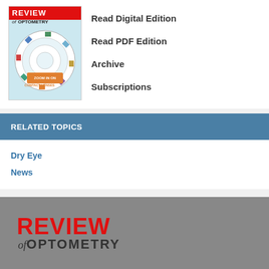[Figure (illustration): Review of Optometry magazine cover showing a circular contact lens infographic with colorful images and text 'ZOOM IN ON CONTACT LENSES']
Read Digital Edition
Read PDF Edition
Archive
Subscriptions
RELATED TOPICS
Dry Eye
News
[Figure (logo): Review of Optometry logo in red and dark gray on gray background footer]